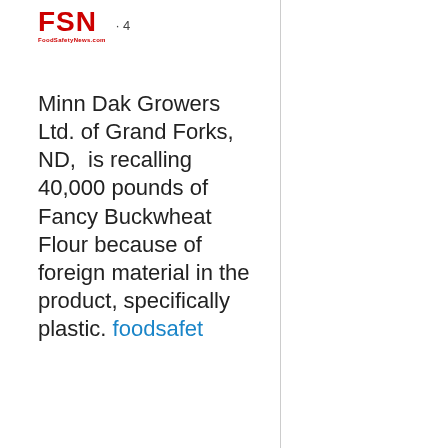[Figure (logo): FSN (Food Safety News) logo in red with tagline]
· 4
Minn Dak Growers Ltd. of Grand Forks, ND, is recalling 40,000 pounds of Fancy Buckwheat Flour because of foreign material in the product, specifically plastic. foodsafet